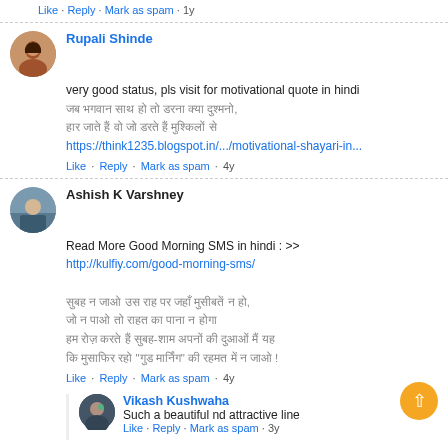Like · Reply · Mark as spam · 1y
Rupali Shinde
very good status, pls visit for motivational quote in hindi
[Hindi text lines]
https://think1235.blogspot.in/.../motivational-shayari-in...
Like · Reply · Mark as spam · 4y
Ashish K Varshney
Read More Good Morning SMS in hindi : >>
http://kulfiy.com/good-morning-sms/
[Hindi text lines]
Like · Reply · Mark as spam · 4y
Vikash Kushwaha
Such a beautiful nd attractive line
Like · Reply · Mark as spam · 3y